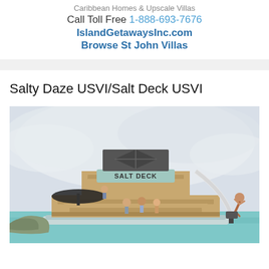Caribbean Homes & Upscale Villas
Call Toll Free 1-888-693-7676
IslandGetawaysInc.com
Browse St John Villas
Salty Daze USVI/Salt Deck USVI
[Figure (photo): A large two-story pontoon boat called Salt Deck on the water. The boat has wooden-paneled stepped decks, a top shade structure, and a water slide. A person is jumping off the right side into the turquoise water. Several people are visible on the lower deck. Cloudy sky background.]